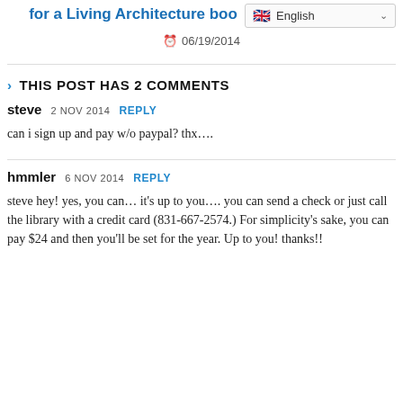for a Living Architecture boo
06/19/2014
THIS POST HAS 2 COMMENTS
steve  2 NOV 2014  REPLY
can i sign up and pay w/o paypal? thx….
hmmler  6 NOV 2014  REPLY
steve hey! yes, you can… it's up to you…. you can send a check or just call the library with a credit card (831-667-2574.) For simplicity's sake, you can pay $24 and then you'll be set for the year. Up to you! thanks!!